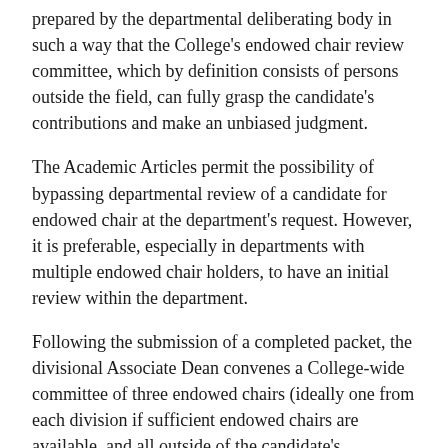prepared by the departmental deliberating body in such a way that the College's endowed chair review committee, which by definition consists of persons outside the field, can fully grasp the candidate's contributions and make an unbiased judgment.
The Academic Articles permit the possibility of bypassing departmental review of a candidate for endowed chair at the department's request. However, it is preferable, especially in departments with multiple endowed chair holders, to have an initial review within the department.
Following the submission of a completed packet, the divisional Associate Dean convenes a College-wide committee of three endowed chairs (ideally one from each division if sufficient endowed chairs are available, and all outside of the candidate's department) to review the case. The divisional associate dean functions as the ex-officio chair of the committee. The minutes of this meeting and a letter from the Associate Dean are given to the Dean of the College for